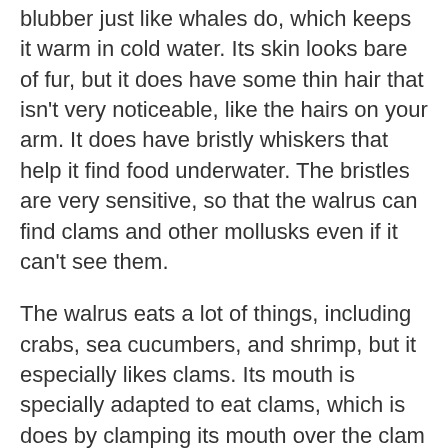blubber just like whales do, which keeps it warm in cold water. Its skin looks bare of fur, but it does have some thin hair that isn't very noticeable, like the hairs on your arm. It does have bristly whiskers that help it find food underwater. The bristles are very sensitive, so that the walrus can find clams and other mollusks even if it can't see them.
The walrus eats a lot of things, including crabs, sea cucumbers, and shrimp, but it especially likes clams. Its mouth is specially adapted to eat clams, which is does by clamping its mouth over the clam and sucking in so hard that it actually sucks the clam's body right out of its shell, no matter how hard the clam tries to keep its shell closed.
The walrus is so big that the only animals that eat it are polar bears and orcas, and they don't eat it very often. Polar bears will sometimes charge at a bunch of walruses and about the moist and is